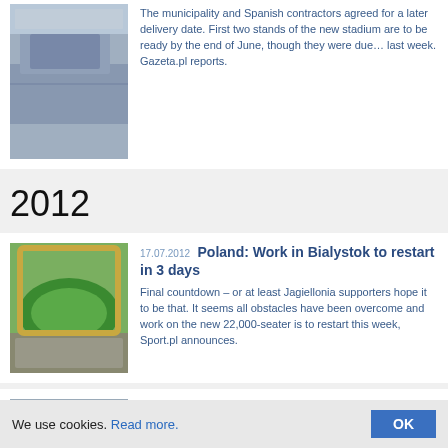[Figure (photo): Aerial view of a stadium under construction, covered in snow]
The municipality and Spanish contractors agreed for a later delivery date. First two stands of the new stadium are to be ready by the end of June, though they were due… last week. Gazeta.pl reports.
2012
[Figure (photo): Aerial render or photo of a modern football stadium with green pitch]
17.07.2012 Poland: Work in Bialystok to restart in 3 days
Final countdown – or at least Jagiellonia supporters hope it to be that. It seems all obstacles have been overcome and work on the new 22,000-seater is to restart this week, Sport.pl announces.
[Figure (photo): Aerial view of Poznan stadium with yellow facade]
12.06.2012 Poznan: Court announces Hydrobudowa and PBG's bankruptcy
District Court of Poznan proclaimed one of the largest stadium contractors in Poland bankrupt. Now Hydrobudowa and mother company PBG have over 10,000 liabilities to pay off – Polish press agency PAP
We use cookies. Read more.